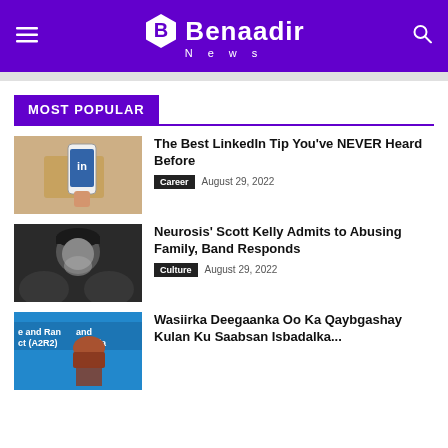Benaadir News
MOST POPULAR
[Figure (photo): Hand holding a smartphone showing the LinkedIn app screen]
The Best LinkedIn Tip You've NEVER Heard Before
Career   August 29, 2022
[Figure (photo): Black and white portrait of a bearded man wearing a dark beanie hat]
Neurosis' Scott Kelly Admits to Abusing Family, Band Responds
Culture   August 29, 2022
[Figure (photo): Woman in hijab at a conference or event with text 'and Rangeland (A2R2) lia' visible in background]
Wasiirka Deegaanka Oo Ka Qaybgashay Kulan Ku Saabsan Isbadalka...